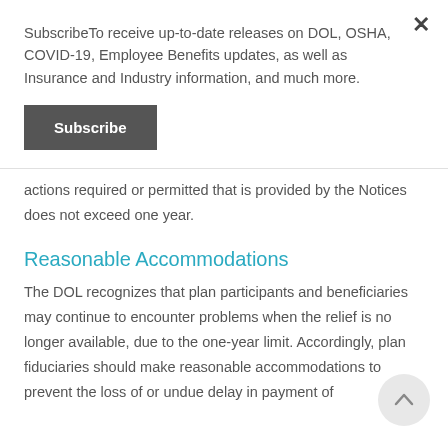SubscribeTo receive up-to-date releases on DOL, OSHA, COVID-19, Employee Benefits updates, as well as Insurance and Industry information, and much more.
Subscribe
actions required or permitted that is provided by the Notices does not exceed one year.
Reasonable Accommodations
The DOL recognizes that plan participants and beneficiaries may continue to encounter problems when the relief is no longer available, due to the one-year limit. Accordingly, plan fiduciaries should make reasonable accommodations to prevent the loss of or undue delay in payment of